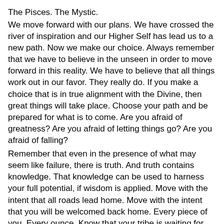The Pisces. The Mystic.
We move forward with our plans. We have crossed the river of inspiration and our Higher Self has lead us to a new path. Now we make our choice. Always remember that we have to believe in the unseen in order to move forward in this reality. We have to believe that all things work out in our favor. They really do. If you make a choice that is in true alignment with the Divine, then great things will take place. Choose your path and be prepared for what is to come. Are you afraid of greatness? Are you afraid of letting things go? Are you afraid of falling?
Remember that even in the presence of what may seem like failure, there is truth. And truth contains knowledge. That knowledge can be used to harness your full potential, if wisdom is applied. Move with the intent that all roads lead home. Move with the intent that you will be welcomed back home. Every piece of you. Every ounce. Know that your tribe is waiting for you to arrive. To celebrate the reunion. For you have returned to what was once known. You have returned to the center of your heart chakra. You have returned to love.
Blessed Be.